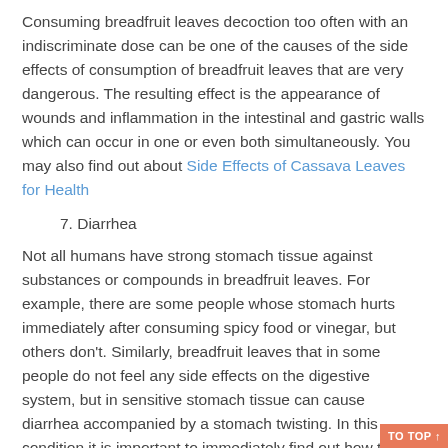Consuming breadfruit leaves decoction too often with an indiscriminate dose can be one of the causes of the side effects of consumption of breadfruit leaves that are very dangerous. The resulting effect is the appearance of wounds and inflammation in the intestinal and gastric walls which can occur in one or even both simultaneously. You may also find out about Side Effects of Cassava Leaves for Health
7. Diarrhea
Not all humans have strong stomach tissue against substances or compounds in breadfruit leaves. For example, there are some people whose stomach hurts immediately after consuming spicy food or vinegar, but others don't. Similarly, breadfruit leaves that in some people do not feel any side effects on the digestive system, but in sensitive stomach tissue can cause diarrhea accompanied by a stomach twisting. In this condition it is important to immediately find out how to deal with diarrhea quickly quickly so that diarrhea can be cured immediately.
8. Itchiness
Compounds in breadfruit leaves can cause allergies in the form of